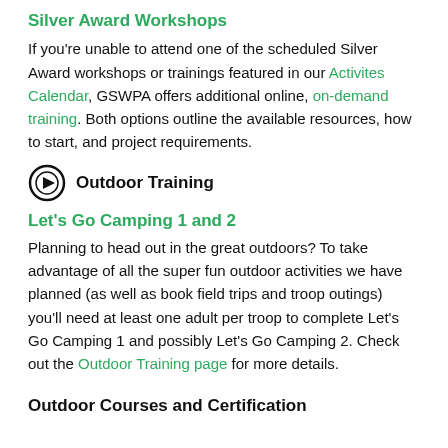Silver Award Workshops
If you're unable to attend one of the scheduled Silver Award workshops or trainings featured in our Activites Calendar, GSWPA offers additional online, on-demand training. Both options outline the available resources, how to start, and project requirements.
Outdoor Training
Let's Go Camping 1 and 2
Planning to head out in the great outdoors? To take advantage of all the super fun outdoor activities we have planned (as well as book field trips and troop outings) you'll need at least one adult per troop to complete Let's Go Camping 1 and possibly Let's Go Camping 2. Check out the Outdoor Training page for more details.
Outdoor Courses and Certification